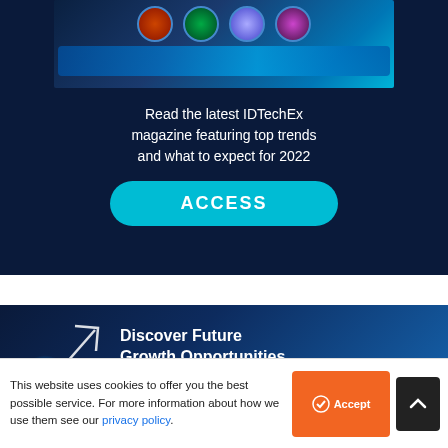[Figure (screenshot): IDTechEx magazine screenshot showing circular thumbnails and wave graphic on dark blue background]
Read the latest IDTechEx magazine featuring top trends and what to expect for 2022
[Figure (other): ACCESS button - cyan rounded rectangle with white bold text]
[Figure (infographic): Discover Future Growth Opportunities banner with glowing arrow and text on dark blue background]
Discover Future Growth Opportunities
Customised research
This website uses cookies to offer you the best possible service. For more information about how we use them see our privacy policy.